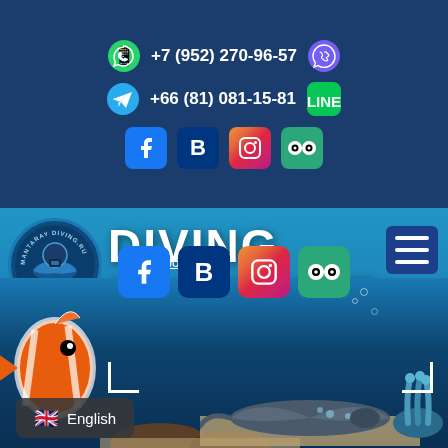+7 (952) 270-96-57  +66 (81) 081-15-81
[Figure (screenshot): Diving in Phuket website screenshot showing contact information, social media icons, underwater scene with clownfish and stingray, and navigation elements]
privacy policy
English